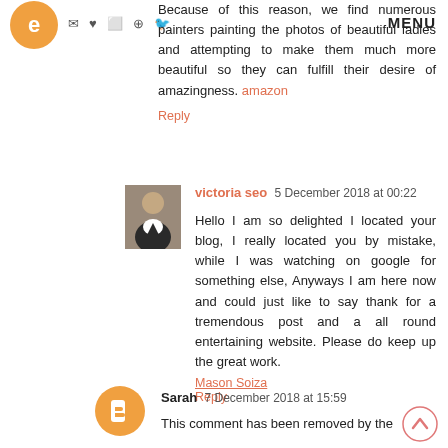MENU
Because of this reason, we find numerous painters painting the photos of beautiful ladies and attempting to make them much more beautiful so they can fulfill their desire of amazingness. amazon
Reply
victoria seo 5 December 2018 at 00:22
Hello I am so delighted I located your blog, I really located you by mistake, while I was watching on google for something else, Anyways I am here now and could just like to say thank for a tremendous post and a all round entertaining website. Please do keep up the great work.
Mason Soiza
Reply
Sarah 7 December 2018 at 15:59
This comment has been removed by the